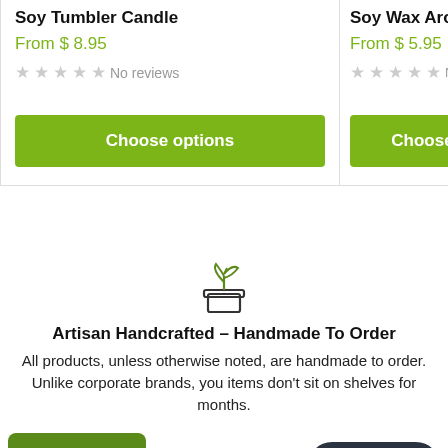Soy Tumbler Candle
From $ 8.95
No reviews
Soy Wax Aroma Tar
From $ 5.95
No rev
[Figure (illustration): Plant/sprout icon in a pot, green color, centered on page]
Artisan Handcrafted - Handmade To Order
All products, unless otherwise noted, are handmade to order. Unlike corporate brands, you items don't sit on shelves for months.
VIP Reward Program
[Figure (illustration): Delivery truck icon with speed lines]
Chat with us